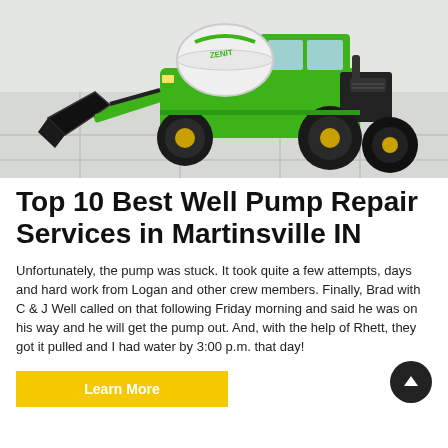[Figure (photo): A green construction / concrete mixer machine (loader type) with a black bucket attachment on a light tiled floor background. Brand logo visible on the machine.]
Top 10 Best Well Pump Repair Services in Martinsville IN
Unfortunately, the pump was stuck. It took quite a few attempts, days and hard work from Logan and other crew members. Finally, Brad with C & J Well called on that following Friday morning and said he was on his way and he will get the pump out. And, with the help of Rhett, they got it pulled and I had water by 3:00 p.m. that day!
Learn More